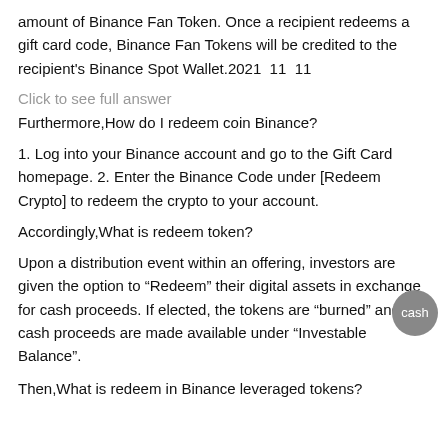amount of Binance Fan Token. Once a recipient redeems a gift card code, Binance Fan Tokens will be credited to the recipient's Binance Spot Wallet.2021 11 11
Click to see full answer
Furthermore,How do I redeem coin Binance?
1. Log into your Binance account and go to the Gift Card homepage. 2. Enter the Binance Code under [Redeem Crypto] to redeem the crypto to your account.
Accordingly,What is redeem token?
Upon a distribution event within an offering, investors are given the option to “Redeem” their digital assets in exchange for cash proceeds. If elected, the tokens are “burned” and the cash proceeds are made available under “Investable Balance”.
Then,What is redeem in Binance leveraged tokens?